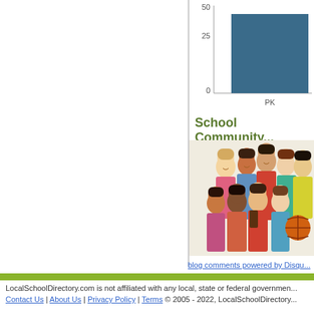[Figure (bar-chart): Students by grade]
School Community...
[Figure (photo): Group of diverse high school students smiling together, some holding books and a basketball]
blog comments powered by Disqu...
LocalSchoolDirectory.com is not affiliated with any local, state or federal governmen...
Contact Us | About Us | Privacy Policy | Terms © 2005 - 2022, LocalSchoolDirectory...